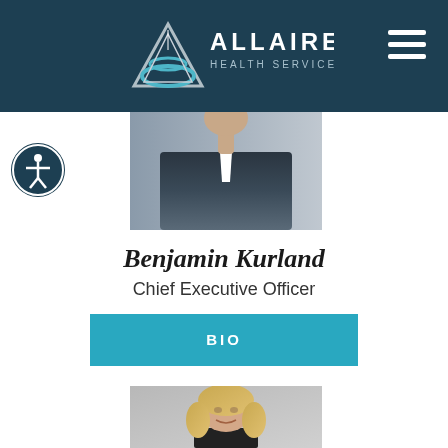Allaire Health Services
[Figure (photo): Partially visible person in dark suit, cropped at top]
Benjamin Kurland
Chief Executive Officer
BIO
[Figure (photo): Professional headshot of a woman with shoulder-length blonde hair, smiling, against a grey background]